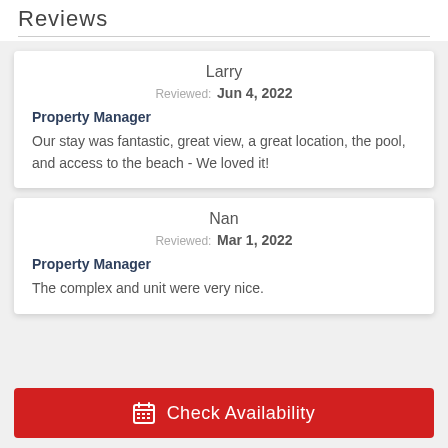Reviews
Larry
Reviewed: Jun 4, 2022
Property Manager
Our stay was fantastic, great view, a great location, the pool, and access to the beach - We loved it!
Nan
Reviewed: Mar 1, 2022
Property Manager
The complex and unit were very nice.
Check Availability